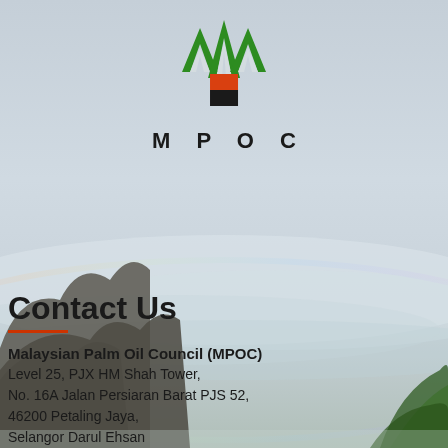[Figure (logo): MPOC (Malaysian Palm Oil Council) logo — green angular leaf/arrow shapes above an orange and black square, with 'MPOC' text in spaced bold letters below]
Contact Us
Malaysian Palm Oil Council (MPOC)
Level 25, PJX HM Shah Tower,
No. 16A Jalan Persiaran Barat PJS 52,
46200 Petaling Jaya,
Selangor Darul Ehsan